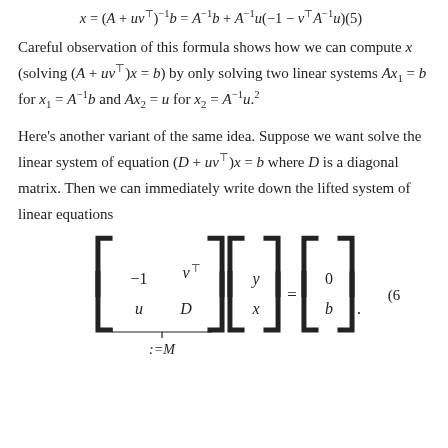Careful observation of this formula shows how we can compute x (solving (A + uv^T)x = b) by only solving two linear systems Ax_1 = b for x_1 = A^{-1}b and Ax_2 = u for x_2 = A^{-1}u.^2
Here's another variant of the same idea. Suppose we want solve the linear system of equation (D + uv^T)x = b where D is a diagonal matrix. Then we can immediately write down the lifted system of linear equations